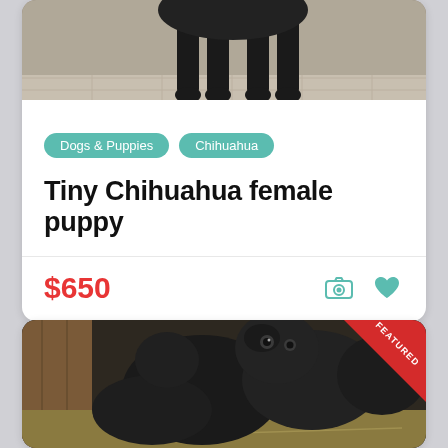[Figure (photo): Black dog standing on a tiled floor, showing legs and paws, partial view cropped at top of card]
Dogs & Puppies
Chihuahua
Tiny Chihuahua female puppy
$650
[Figure (photo): Multiple black Labrador puppies huddled together on hay/straw inside a wooden enclosure, with a red FEATURED badge in the top right corner]